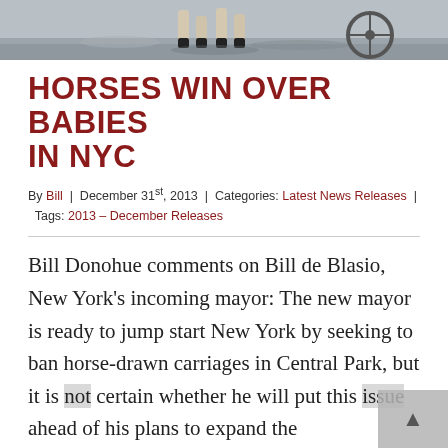[Figure (photo): Top strip showing horse hooves/legs and part of a carriage on pavement]
HORSES WIN OVER BABIES IN NYC
By Bill | December 31st, 2013 | Categories: Latest News Releases | Tags: 2013 – December Releases
Bill Donohue comments on Bill de Blasio, New York's incoming mayor: The new mayor is ready to jump start New York by seeking to ban horse-drawn carriages in Central Park, but it is not certain whether he will put this issue ahead of his plans to expand the